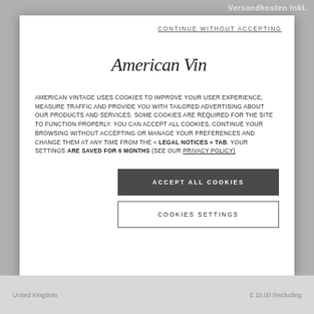Versandkosten Inkl.
CONTINUE WITHOUT ACCEPTING
[Figure (logo): American Vintage cursive script logo]
AMERICAN VINTAGE USES COOKIES TO IMPROVE YOUR USER EXPERIENCE, MEASURE TRAFFIC AND PROVIDE YOU WITH TAILORED ADVERTISING ABOUT OUR PRODUCTS AND SERVICES. SOME COOKIES ARE REQUIRED FOR THE SITE TO FUNCTION PROPERLY. YOU CAN ACCEPT ALL COOKIES, CONTINUE YOUR BROWSING WITHOUT ACCEPTING OR MANAGE YOUR PREFERENCES AND CHANGE THEM AT ANY TIME FROM THE « LEGAL NOTICES » TAB. YOUR SETTINGS ARE SAVED FOR 6 MONTHS (SEE OUR PRIVACY POLICY)
ACCEPT ALL COOKIES
COOKIES SETTINGS
United Kingdom    £ 10.00 (excluding